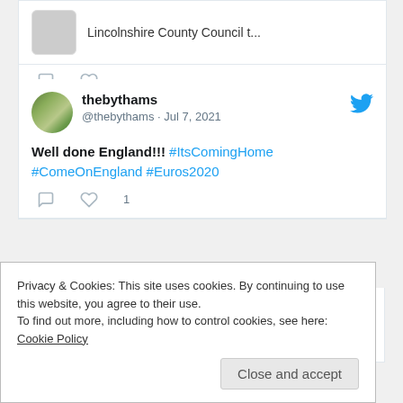[Figure (screenshot): Partial tweet showing 'Lincolnshire County Council t...' text with rounded card border]
thebythams @thebythams · Jul 7, 2021
Well done England!!! #ItsComingHome #ComeOnEngland #Euros2020
View more on Twitter
Privacy & Cookies: This site uses cookies. By continuing to use this website, you agree to their use.
To find out more, including how to control cookies, see here: Cookie Policy
Close and accept